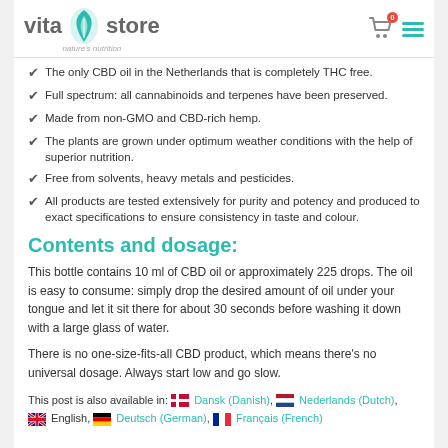[Figure (logo): Vita Store logo with teal leaf icon, tagline 'nature's nutrition']
The only CBD oil in the Netherlands that is completely THC free.
Full spectrum: all cannabinoids and terpenes have been preserved.
Made from non-GMO and CBD-rich hemp.
The plants are grown under optimum weather conditions with the help of superior nutrition.
Free from solvents, heavy metals and pesticides.
All products are tested extensively for purity and potency and produced to exact specifications to ensure consistency in taste and colour.
Contents and dosage:
This bottle contains 10 ml of CBD oil or approximately 225 drops. The oil is easy to consume: simply drop the desired amount of oil under your tongue and let it sit there for about 30 seconds before washing it down with a large glass of water.
There is no one-size-fits-all CBD product, which means there's no universal dosage. Always start low and go slow.
This post is also available in: Dansk (Danish), Nederlands (Dutch), English, Deutsch (German), Français (French)